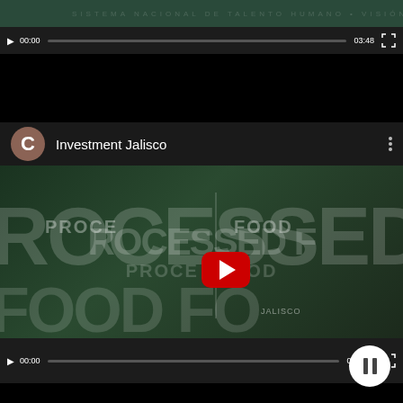[Figure (screenshot): Top video player control bar showing play button, time 00:00, progress bar, duration 03:48, and fullscreen icon]
[Figure (screenshot): YouTube-style video card with avatar 'C', title 'Investment Jalisco', thumbnail showing 'PROCESSED FOOD' text with YouTube play button overlay, and video controls showing 00:00 / 03:56]
[Figure (screenshot): Partially visible video card with avatar thumbnail and title 'Espectacular video promocional Mé...' with a floating pause button]